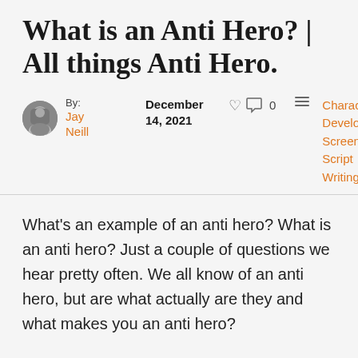What is an Anti Hero? | All things Anti Hero.
By: Jay Neill  December 14, 2021  0  Character Development, Screenwriting, Script Writing
What's an example of an anti hero? What is an anti hero? Just a couple of questions we hear pretty often. We all know of an anti hero, but are what actually are they and what makes you an anti hero?